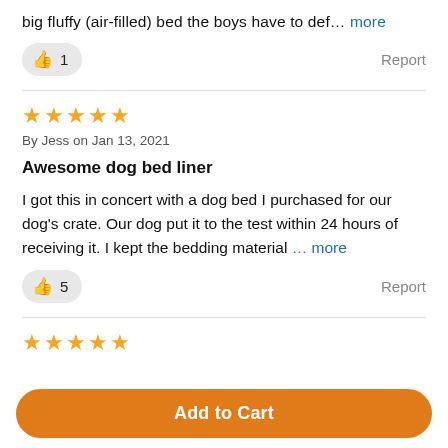big fluffy (air-filled) bed the boys have to def… more
👍 1    Report
[Figure (other): Five orange star rating icons]
By Jess on Jan 13, 2021
Awesome dog bed liner
I got this in concert with a dog bed I purchased for our dog's crate. Our dog put it to the test within 24 hours of receiving it. I kept the bedding material … more
👍 5    Report
[Figure (other): Five orange star rating icons]
Add to Cart